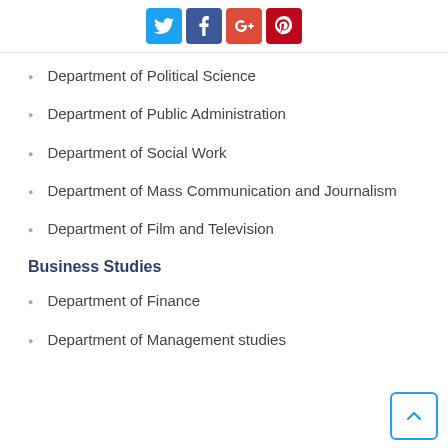[Figure (other): Social media share icons: Twitter (blue), Facebook (dark blue), Google+ (red), Pinterest (dark red)]
Department of Political Science
Department of Public Administration
Department of Social Work
Department of Mass Communication and Journalism
Department of Film and Television
Business Studies
Department of Finance
Department of Management studies